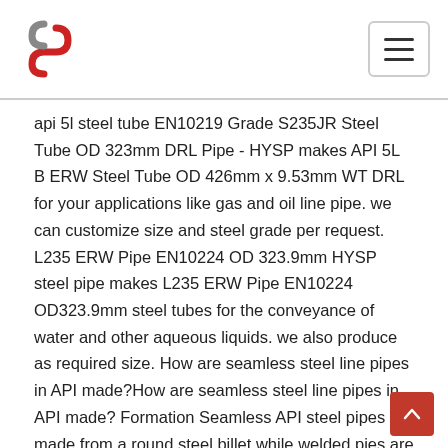HYSP logo and navigation menu
api 5l steel tube EN10219 Grade S235JR Steel Tube OD 323mm DRL Pipe - HYSP makes API 5L B ERW Steel Tube OD 426mm x 9.53mm WT DRL for your applications like gas and oil line pipe. we can customize size and steel grade per request. L235 ERW Pipe EN10224 OD 323.9mm HYSP steel pipe makes L235 ERW Pipe EN10224 OD323.9mm steel tubes for the conveyance of water and other aqueous liquids. we also produce as required size. How are seamless steel line pipes in API made?How are seamless steel line pipes in API made? Formation Seamless API steel pipes are made from a round steel billet while welded pies are made from a strip which is rolled and welded. The formation process of seamless pipes involves forging, perforation, rolling, and shaping all at a time.API 5L Seamless Steel Line Pipe in Gr B to X65, for Oil pipe pile oil and gas line pipe api 5l steel tube Images of Pipe Pile Oil and Gas Line Pipe API 5L Steel Tube apisteelAPI 5L